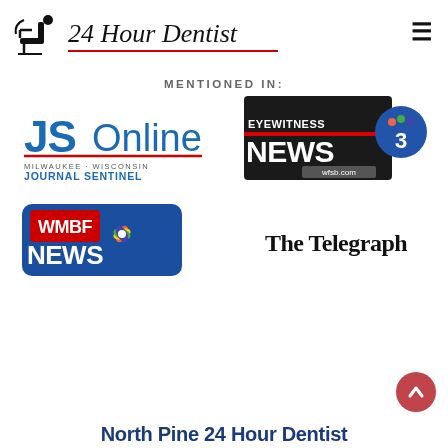[Figure (logo): 24 Hour Dentist logo with dental chair icon and italic text, red underline]
[Figure (logo): Hamburger menu icon (three horizontal lines)]
MENTIONED IN:
[Figure (logo): JSOnline Milwaukee-Wisconsin Journal Sentinel logo]
[Figure (logo): Eyewitness News 3 wfsb.com logo]
[Figure (logo): WMBF News NBC affiliate logo]
[Figure (logo): The Telegraph newspaper logo in blackletter font]
[Figure (other): Scroll-to-top button, red circle with white upward chevron]
North Pine 24 Hour Dentist